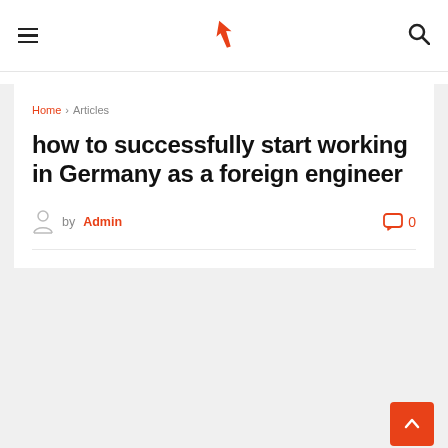Navigation bar with hamburger menu, rocket logo, and search icon
Home > Articles
how to successfully start working in Germany as a foreign engineer
by Admin  0 comments